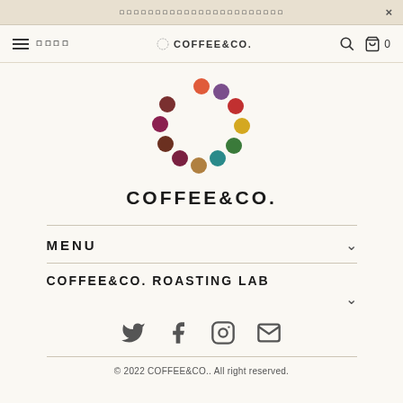ロロロロロロロロロロロロロロロロロロロロロロロ ×
[Figure (logo): COFFEE&CO. logo with colorful dot circle and text]
MENU ∨
COFFEE&CO. ROASTING LAB ∨
[Figure (infographic): Social media icons: Twitter, Facebook, Instagram, Mail]
© 2022 COFFEE&CO.. All right reserved.